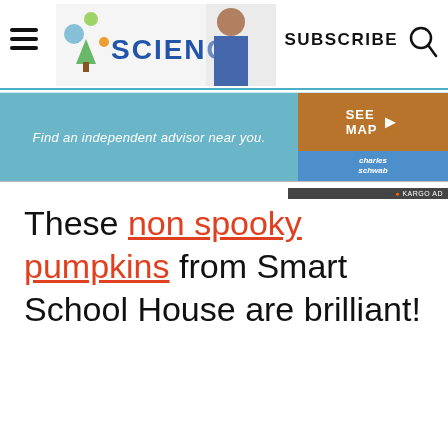SCIENCE | SUBSCRIBE
[Figure (infographic): Ad banner: Find an independent advisor near you. SEE MAP button with arrow. Charles Schwab logo. KARGO AD label.]
These non spooky pumpkins from Smart School House are brilliant!